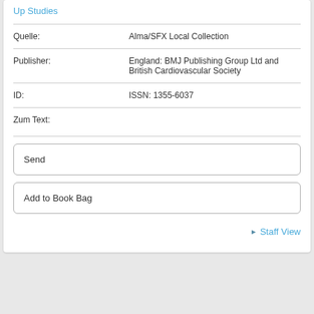Up Studies
Quelle: Alma/SFX Local Collection
Publisher: England: BMJ Publishing Group Ltd and British Cardiovascular Society
ID: ISSN: 1355-6037
Zum Text:
Send
Add to Book Bag
Staff View